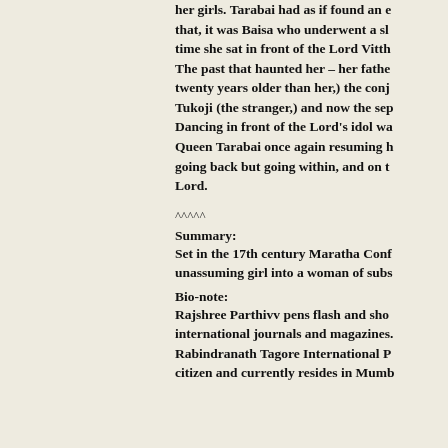her girls. Tarabai had as if found an e that, it was Baisa who underwent a sl time she sat in front of the Lord Vitth The past that haunted her – her fathe twenty years older than her,) the conj Tukoji (the stranger,) and now the sep Dancing in front of the Lord's idol wa Queen Tarabai once again resuming h going back but going within, and on t Lord.
^^^^^
Summary:
Set in the 17th century Maratha Conf unassuming girl into a woman of subs
Bio-note:
Rajshree Parthivv pens flash and sho international journals and magazines. Rabindranath Tagore International P citizen and currently resides in Mumb